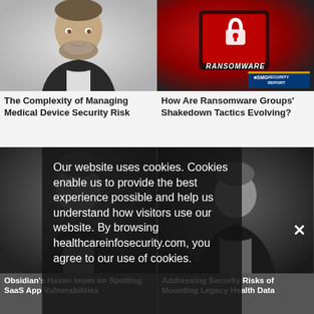[Figure (photo): Head and shoulders photo of a middle-aged man with grey beard wearing a dark blazer, light background]
[Figure (photo): Ransomware screen showing a red-lit tablet with RANSOMWARE text and padlock icon, SMG Security Report badge]
The Complexity of Managing Medical Device Security Risk
How Are Ransomware Groups' Shakedown Tactics Evolving?
[Figure (photo): Dark photo of a person (bottom left card) - Obsidian's Hasan Imam on Spotting SaaS App Vulnerabilities]
[Figure (photo): Dark photo of a man in suit (bottom right card) - Addressing Security Risks of Mounting Legacy Health Data]
Our website uses cookies. Cookies enable us to provide the best experience possible and help us understand how visitors use our website. By browsing healthcareinfosecurity.com, you agree to our use of cookies.
Obsidian's Hasan Imam on Spotting SaaS App Vulnerabilities
Addressing Security Risks of Mounting Legacy Health Data